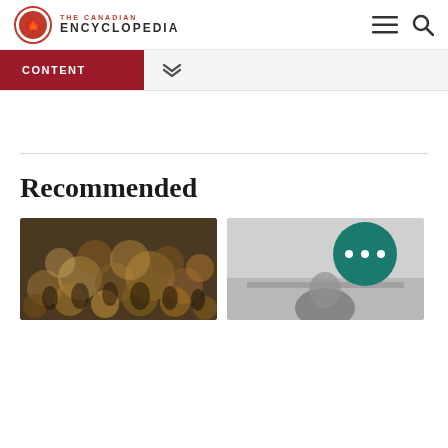THE CANADIAN ENCYCLOPEDIA
CONTENT
Recommended
[Figure (photo): Blurred crowd of people with bokeh lighting effect]
[Figure (photo): Black and white photo of a person at a desk, overlaid with a teal circular chat bubble with three dots]